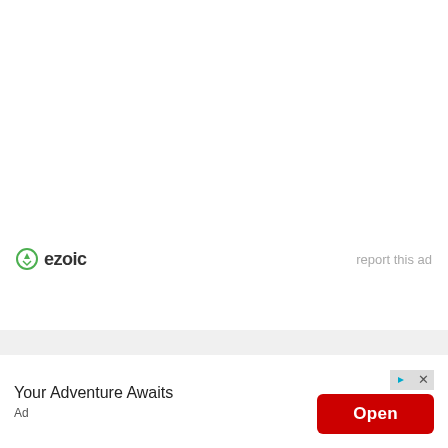[Figure (logo): Ezoic logo with green circle icon and bold dark text 'ezoic']
report this ad
[Figure (infographic): Advertisement banner with text 'Your Adventure Awaits', an 'Open' red button, ad controls (triangle and X icons), and 'Ad' label at bottom left]